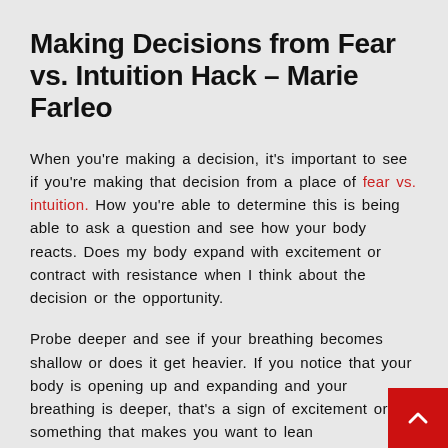Making Decisions from Fear vs. Intuition Hack – Marie Farleo
When you're making a decision, it's important to see if you're making that decision from a place of fear vs. intuition. How you're able to determine this is being able to ask a question and see how your body reacts. Does my body expand with excitement or contract with resistance when I think about the decision or the opportunity.
Probe deeper and see if your breathing becomes shallow or does it get heavier. If you notice that your body is opening up and expanding and your breathing is deeper, that's a sign of excitement or something that makes you want to lean